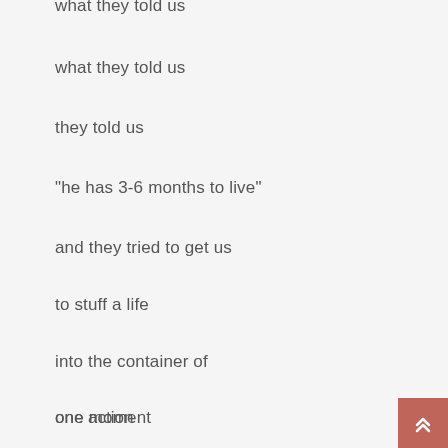what they told us
what they told us
they told us
“he has 3-6 months to live”
and they tried to get us
to stuff a life
into the container of
one moment
one action